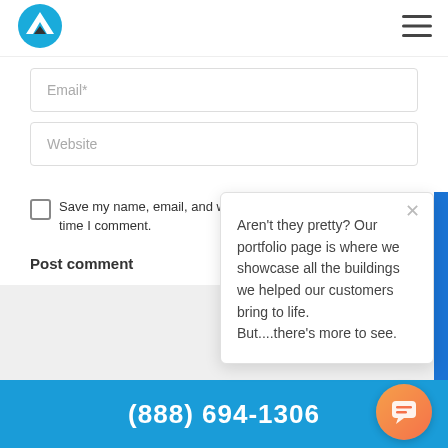[Figure (logo): Blue mountain/chevron logo icon]
[Figure (illustration): Hamburger menu icon (three horizontal bars)]
Email*
Website
Save my name, email, and website in this browser for the next time I comment.
Post comment
Aren't they pretty? Our portfolio page is where we showcase all the buildings we helped our customers bring to life. But....there's more to see.
(888) 694-1306